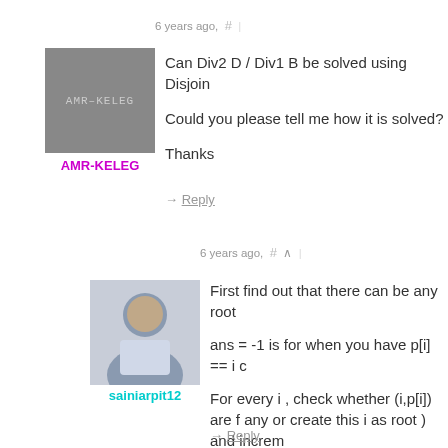6 years ago,  #  |
[Figure (photo): Gray avatar placeholder with text AMR-KELEG]
AMR-KELEG
Can Div2 D / Div1 B be solved using Disjoin
Could you please tell me how it is solved?
Thanks
→ Reply
6 years ago,  #  ^  |
First find out that there can be any root
[Figure (photo): Profile photo of sainiarpit12]
sainiarpit12
ans = -1 is for when you have p[i] == i c
For every i , check whether (i,p[i]) are f any or create this i as root ) and increm
Here is my code : 19259242
→ Reply